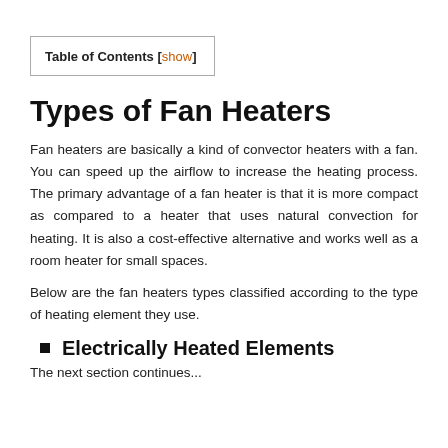Types of Fan Heaters
Fan heaters are basically a kind of convector heaters with a fan. You can speed up the airflow to increase the heating process. The primary advantage of a fan heater is that it is more compact as compared to a heater that uses natural convection for heating. It is also a cost-effective alternative and works well as a room heater for small spaces.
Below are the fan heaters types classified according to the type of heating element they use.
Electrically Heated Elements
The next section continues...